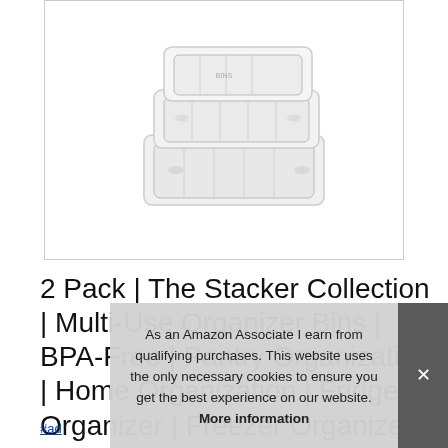[Figure (photo): Product photo of white stackable organizer bins on white background]
2 Pack | The Stacker Collection | Multi-Use Organizer Bins | BPA-Free | Pantry Organization | Home Organization | Fridge Organizer | Freezer Organizer, BINS | Stackable Plastic Storage Bi... La...
#ad
As an Amazon Associate I earn from qualifying purchases. This website uses the only necessary cookies to ensure you get the best experience on our website. More information